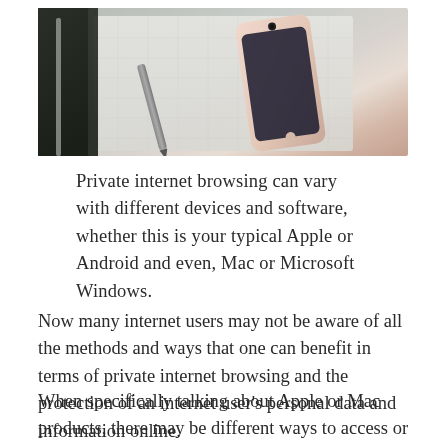[Figure (photo): Photo of an iPhone (rose gold/pink) and a stylus pen resting on a white notebook or laptop, shot from above at an angle]
Private internet browsing can vary with different devices and software, whether this is your typical Apple or Android and even, Mac or Microsoft Windows.
Now many internet users may not be aware of all the methods and ways that one can benefit in terms of private internet browsing and the protection of an internet user's personal data and information online.
When specifically talking about Apple or Mac products, there may be different ways to access or download and install a private browsing software as